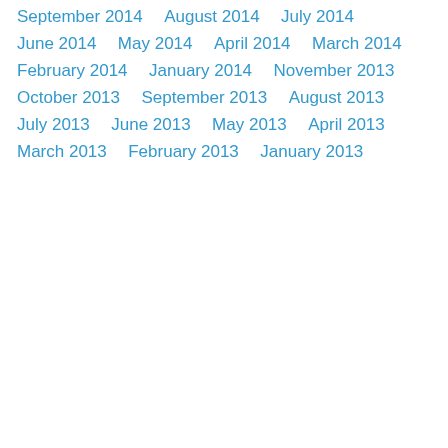September 2014
August 2014
July 2014
June 2014
May 2014
April 2014
March 2014
February 2014
January 2014
November 2013
October 2013
September 2013
August 2013
July 2013
June 2013
May 2013
April 2013
March 2013
February 2013
January 2013